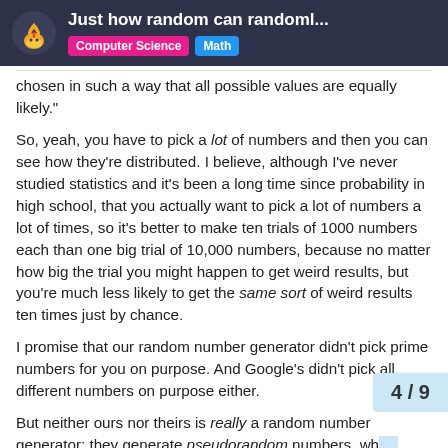Just how random can randoml... | Computer Science | Math
chosen in such a way that all possible values are equally likely."
So, yeah, you have to pick a lot of numbers and then you can see how they're distributed. I believe, although I've never studied statistics and it's been a long time since probability in high school, that you actually want to pick a lot of numbers a lot of times, so it's better to make ten trials of 1000 numbers each than one big trial of 10,000 numbers, because no matter how big the trial you might happen to get weird results, but you're much less likely to get the same sort of weird results ten times just by chance.
I promise that our random number generator didn't pick prime numbers for you on purpose. And Google's didn't pick all different numbers on purpose either.
But neither ours nor theirs is really a random number generator; they generate pseudorandom numbers, wh... value is generated from the past history al... ...ing algorithm that ke...